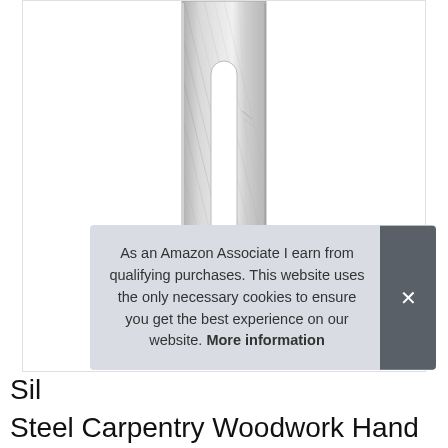[Figure (photo): A silver steel carpentry/woodwork hand plane blade or iron — a flat metal blade with a long oval slot/hole in the center and a rounded keyhole-shaped hole at the bottom, with brushed metal finish, photographed on white background.]
As an Amazon Associate I earn from qualifying purchases. This website uses the only necessary cookies to ensure you get the best experience on our website. More information
Sil
Steel Carpentry Woodwork Hand